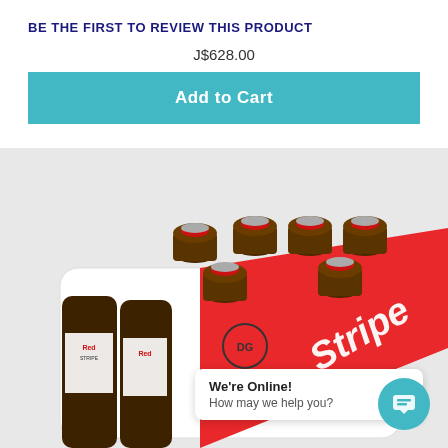BE THE FIRST TO REVIEW THIS PRODUCT
J$628.00
Add to Cart
[Figure (photo): A case/pack of Stripe beer bottles (Red Stripe brand) showing 8 brown glass bottles with red and silver caps, in a white and red branded cardboard case with 'Stripe' and 'DG' logo visible. Two beer bottles in foreground show 'Red' label.]
We're Online! How may we help you?